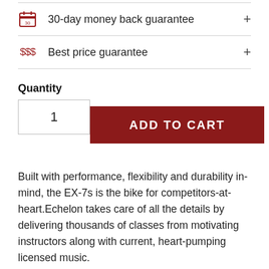30-day money back guarantee
$$$ Best price guarantee
Quantity
1
ADD TO CART
Built with performance, flexibility and durability in-mind, the EX-7s is the bike for competitors-at-heart.Echelon takes care of all the details by delivering thousands of classes from motivating instructors along with current, heart-pumping licensed music.